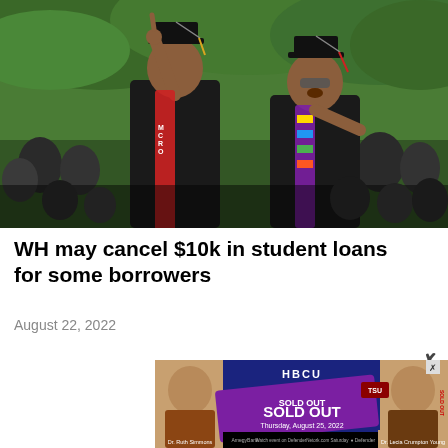[Figure (photo): Two young Black male graduates in black academic robes and mortarboard caps celebrating at a graduation ceremony. The man on the left raises one finger in the air with a big smile, wearing a red sash with 'MCRO' visible. The man on the right has sunglasses and is cheering, wearing a colorful Kente cloth stole. Green trees and a crowd of people are visible in the background.]
WH may cancel $10k in student loans for some borrowers
August 22, 2022
[Figure (photo): Advertisement for HBCU Presidents event with 'SOLD OUT' overlay. Features photos of Dr. Ruth Simmons on the left and Dr. Leslia Crumpton Young on the right. Text reads 'HBCU PRESIDENTS', 'SOLD OUT', 'TSU', 'Thursday, August 25, 2022'. Bottom bar shows Amegy Bank, Defender logos.]